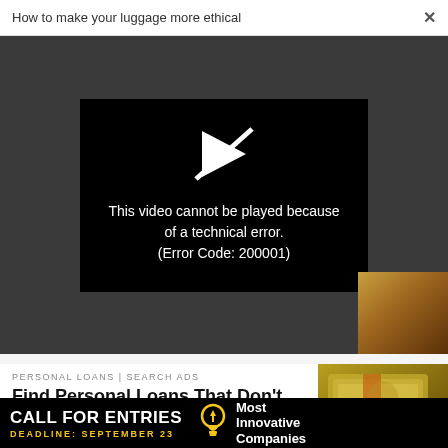How to make your luggage more ethical  ×
[Figure (screenshot): Video player showing error message: This video cannot be played because of a technical error. (Error Code: 200001) on dark background with broken play icon]
This video cannot be played because of a technical error. (Error Code: 200001)
PERSONAL LOANS | SEARCH ADS
Find Personal Loans That Don't Require Any
[Figure (photo): Stack of bundled US dollar bills]
[Figure (infographic): Black banner ad: CALL FOR ENTRIES DEADLINE: SEPTEMBER 23 with lightbulb icon and text Most Innovative Companies]